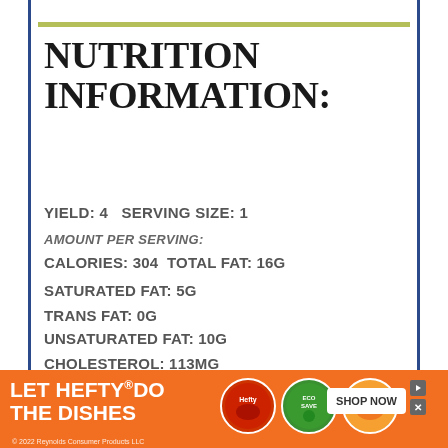NUTRITION INFORMATION:
YIELD: 4 SERVING SIZE: 1
AMOUNT PER SERVING:
CALORIES: 304 TOTAL FAT: 16G
SATURATED FAT: 5G
TRANS FAT: 0G
UNSATURATED FAT: 10G
CHOLESTEROL: 113MG
SODIUM: 787MG
CARBOHYDRATES: (partially visible)
[Figure (infographic): Advertisement banner: LET HEFTY DO THE DISHES with product images and SHOP NOW button. Orange background. © 2022 Reynolds Consumer Products LLC]